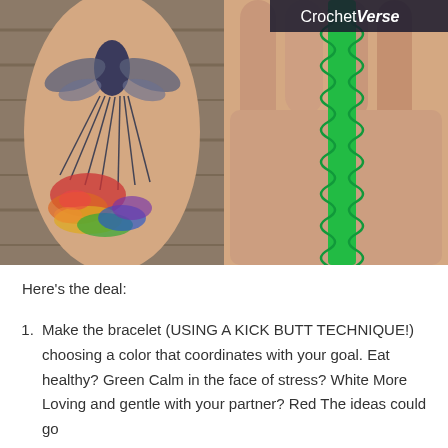[Figure (photo): Two photos side by side: left shows a dragonfly tattoo with rainbow watercolor splash on a person's arm/leg resting on wooden planks; right shows a hand holding a bright green crocheted bracelet/cord, with 'CrochetVerse' logo in top right corner.]
Here's the deal:
Make the bracelet (USING A KICK BUTT TECHNIQUE!) choosing a color that coordinates with your goal. Eat healthy? Green Calm in the face of stress? White More Loving and gentle with your partner? Red The ideas could go